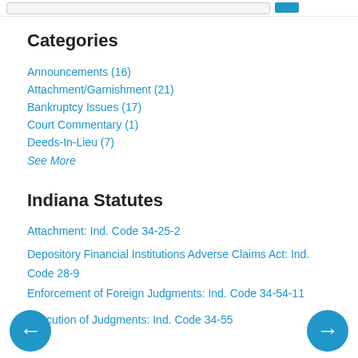Categories
Announcements (16)
Attachment/Garnishment (21)
Bankruptcy Issues (17)
Court Commentary (1)
Deeds-In-Lieu (7)
See More
Indiana Statutes
Attachment: Ind. Code 34-25-2
Depository Financial Institutions Adverse Claims Act: Ind. Code 28-9
Enforcement of Foreign Judgments: Ind. Code 34-54-11
Execution of Judgments: Ind. Code 34-55